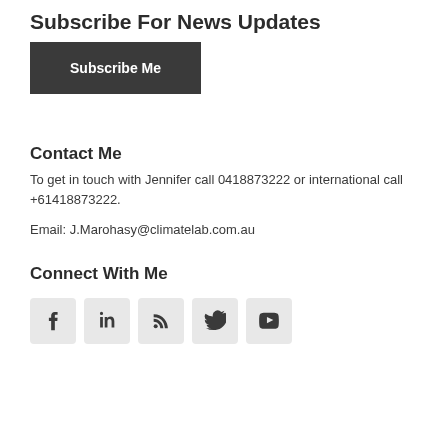Subscribe For News Updates
Subscribe Me
Contact Me
To get in touch with Jennifer call 0418873222 or international call +61418873222.
Email: J.Marohasy@climatelab.com.au
Connect With Me
[Figure (infographic): Row of five social media icons: Facebook, LinkedIn, RSS, Twitter, YouTube]